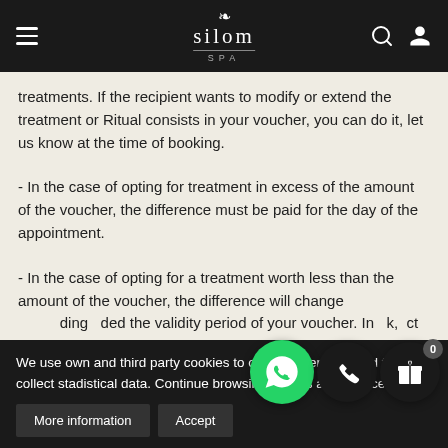silom SPA
treatments. If the recipient wants to modify or extend the treatment or Ritual consists in your voucher, you can do it, let us know at the time of booking.
- In the case of opting for treatment in excess of the amount of the voucher, the difference must be paid for the day of the appointment.
- In the case of opting for a treatment worth less than the amount of the voucher, the difference will change according to the added the validity period of your voucher. In ok, ct value in euros of the treatment to be performed, m dura
We use own and third party cookies to offer our services and to collect stadistical data. Continue browsing implies acceptance.